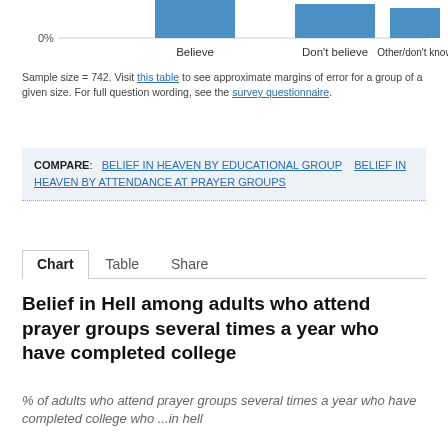[Figure (bar-chart): Partial bar chart showing bars for Believe, Don't believe, Other/don't know categories, with 0% label on y-axis. Bars shown in steel blue.]
Sample size = 742. Visit this table to see approximate margins of error for a group of a given size. For full question wording, see the survey questionnaire.
COMPARE: BELIEF IN HEAVEN BY EDUCATIONAL GROUP   BELIEF IN HEAVEN BY ATTENDANCE AT PRAYER GROUPS
Chart   Table   Share
Belief in Hell among adults who attend prayer groups several times a year who have completed college
% of adults who attend prayer groups several times a year who have completed college who ...in hell